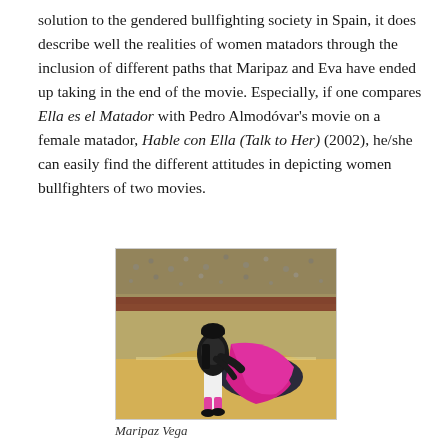solution to the gendered bullfighting society in Spain, it does describe well the realities of women matadors through the inclusion of different paths that Maripaz and Eva have ended up taking in the end of the movie. Especially, if one compares Ella es el Matador with Pedro Almodóvar's movie on a female matador, Hable con Ella (Talk to Her) (2002), he/she can easily find the different attitudes in depicting women bullfighters of two movies.
[Figure (photo): A female matador in a bullfighting ring, wearing a white and black ornate bullfighting suit with pink stockings and black shoes, holding a bright magenta/pink cape (muleta) over a dark bull. The bullring (plaza de toros) is visible in the background with a packed crowd and sandy arena floor.]
Maripaz Vega